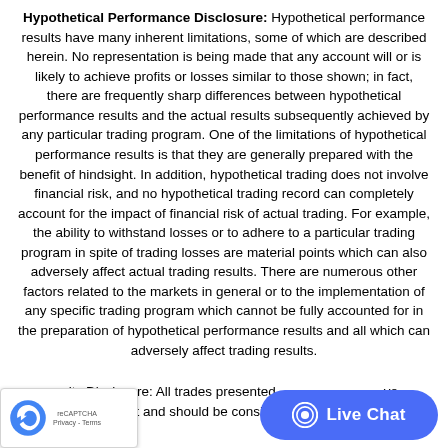Hypothetical Performance Disclosure: Hypothetical performance results have many inherent limitations, some of which are described herein. No representation is being made that any account will or is likely to achieve profits or losses similar to those shown; in fact, there are frequently sharp differences between hypothetical performance results and the actual results subsequently achieved by any particular trading program. One of the limitations of hypothetical performance results is that they are generally prepared with the benefit of hindsight. In addition, hypothetical trading does not involve financial risk, and no hypothetical trading record can completely account for the impact of financial risk of actual trading. For example, the ability to withstand losses or to adhere to a particular trading program in spite of trading losses are material points which can also adversely affect actual trading results. There are numerous other factors related to the markets in general or to the implementation of any specific trading program which cannot be fully accounted for in the preparation of hypothetical performance results and all which can adversely affect trading results.
...ults Disclosure: All trades presented...ve account and should be considered hy...
[Figure (other): Google reCAPTCHA badge overlay at bottom-left showing reCAPTCHA logo with Privacy and Terms links]
[Figure (other): Blue Live Chat button overlay at bottom-right with chat bubble icon and 'Live Chat' label]